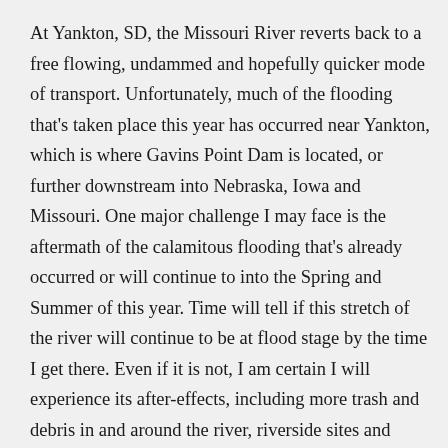At Yankton, SD, the Missouri River reverts back to a free flowing, undammed and hopefully quicker mode of transport. Unfortunately, much of the flooding that's taken place this year has occurred near Yankton, which is where Gavins Point Dam is located, or further downstream into Nebraska, Iowa and Missouri. One major challenge I may face is the aftermath of the calamitous flooding that's already occurred or will continue to into the Spring and Summer of this year. Time will tell if this stretch of the river will continue to be at flood stage by the time I get there. Even if it is not, I am certain I will experience its after-effects, including more trash and debris in and around the river, riverside sites and campgrounds no longer open or accessible, sloppy mud everywhere and a general lack of facilities.